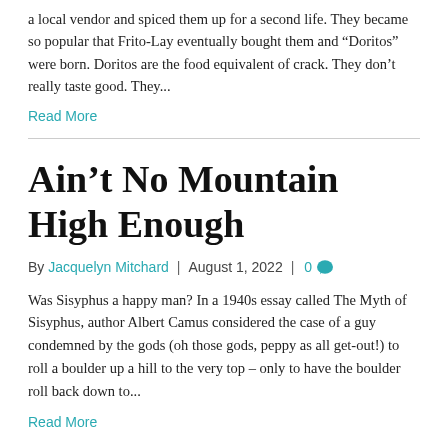a local vendor and spiced them up for a second life. They became so popular that Frito-Lay eventually bought them and “Doritos” were born. Doritos are the food equivalent of crack. They don’t really taste good. They...
Read More
Ain’t No Mountain High Enough
By Jacquelyn Mitchard | August 1, 2022 | 0
Was Sisyphus a happy man? In a 1940s essay called The Myth of Sisyphus, author Albert Camus considered the case of a guy condemned by the gods (oh those gods, peppy as all get-out!) to roll a boulder up a hill to the very top – only to have the boulder roll back down to...
Read More